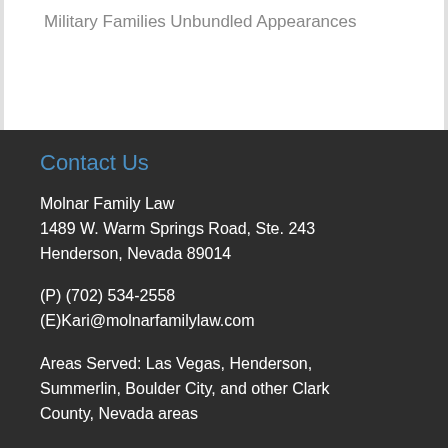Military Families
Unbundled Appearances
Contact Us
Molnar Family Law
1489 W. Warm Springs Road, Ste. 243
Henderson, Nevada 89014
(P) (702) 534-2558
(E)Kari@molnarfamilylaw.com
Areas Served: Las Vegas, Henderson, Summerlin, Boulder City, and other Clark County, Nevada areas